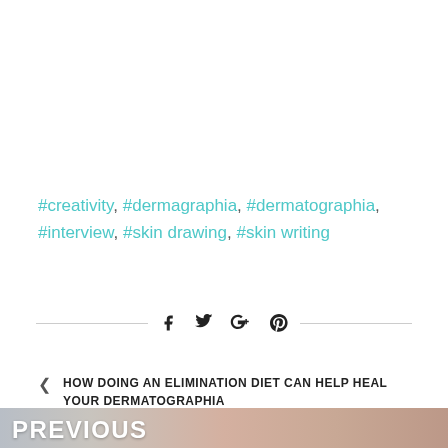#creativity, #dermagraphia, #dermatographia, #interview, #skin drawing, #skin writing
[Figure (other): Social sharing icons: Facebook, Twitter, Google+, Pinterest, with horizontal divider lines on each side]
HOW DOING AN ELIMINATION DIET CAN HELP HEAL YOUR DERMATOGRAPHIA
[Figure (photo): Partial photo of skin showing dermatographia markings, with PREVIOUS label overlay]